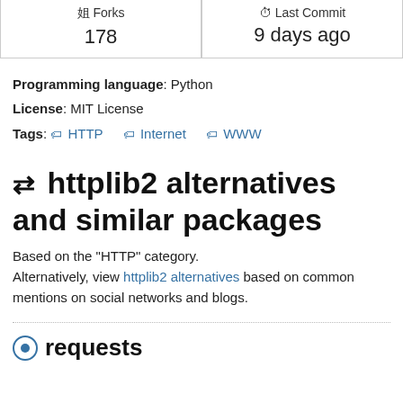| Forks | Last Commit |
| --- | --- |
| 178 | 9 days ago |
Programming language: Python
License: MIT License
Tags: HTTP  Internet  WWW
httplib2 alternatives and similar packages
Based on the "HTTP" category.
Alternatively, view httplib2 alternatives based on common mentions on social networks and blogs.
requests